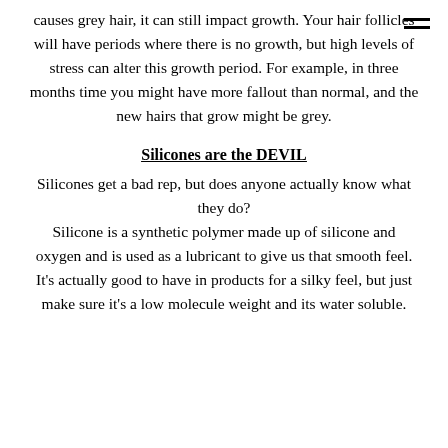causes grey hair, it can still impact growth. Your hair follicles will have periods where there is no growth, but high levels of stress can alter this growth period. For example, in three months time you might have more fallout than normal, and the new hairs that grow might be grey.
Silicones are the DEVIL
Silicones get a bad rep, but does anyone actually know what they do? Silicone is a synthetic polymer made up of silicone and oxygen and is used as a lubricant to give us that smooth feel. It's actually good to have in products for a silky feel, but just make sure it's a low molecule weight and its water soluble.